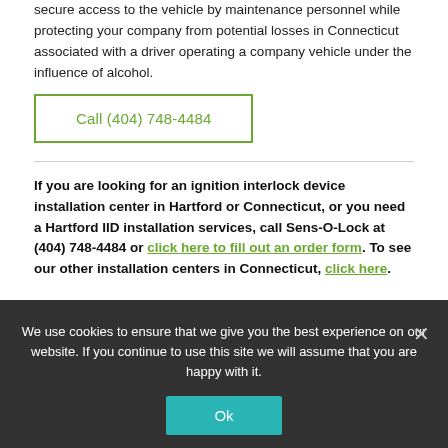secure access to the vehicle by maintenance personnel while protecting your company from potential losses in Connecticut associated with a driver operating a company vehicle under the influence of alcohol.
Call (404) 748-4484
If you are looking for an ignition interlock device installation center in Hartford or Connecticut, or you need a Hartford IID installation services, call Sens-O-Lock at (404) 748-4484 or click here to fill out an order form. To see our other installation centers in Connecticut, click here.
We use cookies to ensure that we give you the best experience on our website. If you continue to use this site we will assume that you are happy with it.
Ok